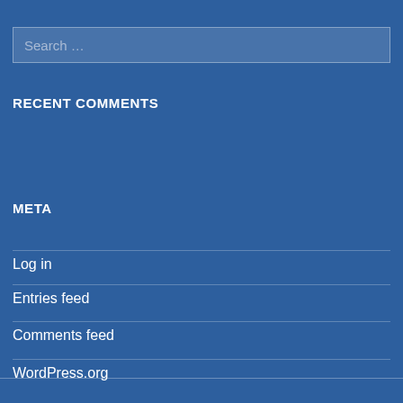Search …
RECENT COMMENTS
META
Log in
Entries feed
Comments feed
WordPress.org